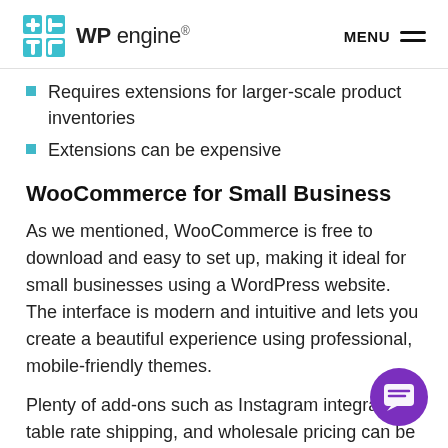WP engine® | MENU
Requires extensions for larger-scale product inventories
Extensions can be expensive
WooCommerce for Small Business
As we mentioned, WooCommerce is free to download and easy to set up, making it ideal for small businesses using a WordPress website. The interface is modern and intuitive and lets you create a beautiful experience using professional, mobile-friendly themes.
Plenty of add-ons such as Instagram integration, table rate shipping, and wholesale pricing can be